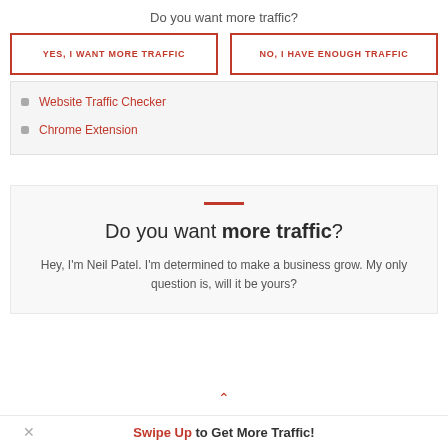Do you want more traffic?
YES, I WANT MORE TRAFFIC
NO, I HAVE ENOUGH TRAFFIC
Website Traffic Checker
Chrome Extension
Do you want more traffic?
Hey, I'm Neil Patel. I'm determined to make a business grow. My only question is, will it be yours?
Swipe Up to Get More Traffic!